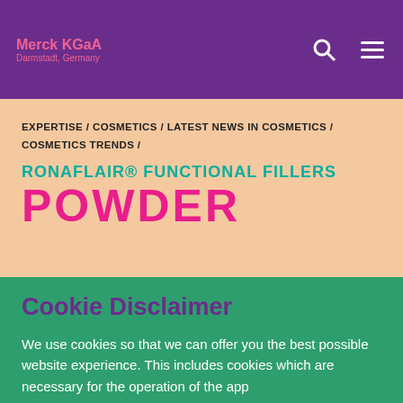Merck KGaA
Darmstadt, Germany
EXPERTISE / COSMETICS / LATEST NEWS IN COSMETICS / COSMETICS TRENDS /
RONAFLAIR® FUNCTIONAL FILLERS
POWDER
Cookie Disclaimer
We use cookies so that we can offer you the best possible website experience. This includes cookies which are necessary for the operation of the app
GOT IT!
COOKIE SETTINGS →